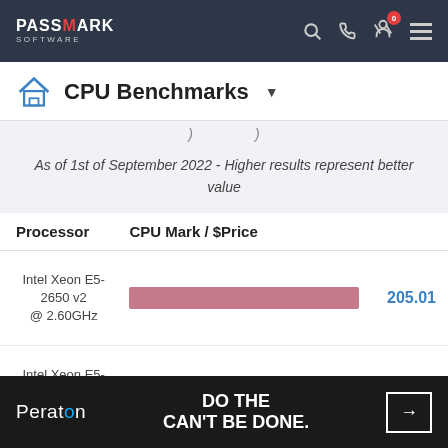PassMark Software
CPU Benchmarks
As of 1st of September 2022 - Higher results represent better value
| Processor | CPU Mark / $Price |  |
| --- | --- | --- |
| Intel Xeon E5-2650 v2 @ 2.60GHz | [bar] | 205.01 |
| Intel Xeon E5-2620 v3 @ 2.40GHz | [bar] | 133.66 |
[Figure (other): Peraton advertisement banner: DO THE CAN'T BE DONE.]